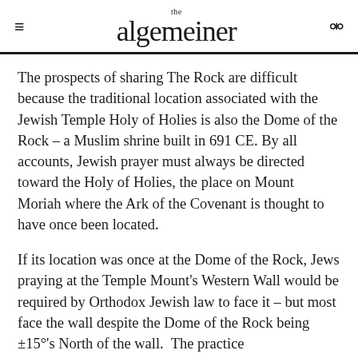the algemeiner
The prospects of sharing The Rock are difficult because the traditional location associated with the Jewish Temple Holy of Holies is also the Dome of the Rock – a Muslim shrine built in 691 CE. By all accounts, Jewish prayer must always be directed toward the Holy of Holies, the place on Mount Moriah where the Ark of the Covenant is thought to have once been located.
If its location was once at the Dome of the Rock, Jews praying at the Temple Mount's Western Wall would be required by Orthodox Jewish law to face it – but most face the wall despite the Dome of the Rock being ±15°'s North of the wall.  The practice